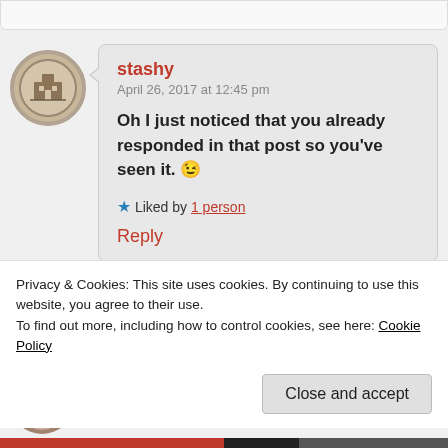stashy
April 26, 2017 at 12:45 pm
Oh I just noticed that you already responded in that post so you've seen it. 😉
★ Liked by 1 person
Reply
Privacy & Cookies: This site uses cookies. By continuing to use this website, you agree to their use.
To find out more, including how to control cookies, see here: Cookie Policy
Close and accept